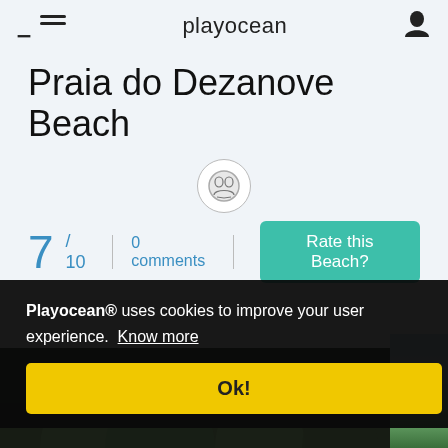playocean
Praia do Dezanove Beach
[Figure (logo): Round badge/seal icon with human figures]
7 / 10 | 0 comments | Rate this Beach?
Playocean® uses cookies to improve your user experience. Know more
Ok!
[Figure (photo): Beach scene with dark trees and sky, partially visible]